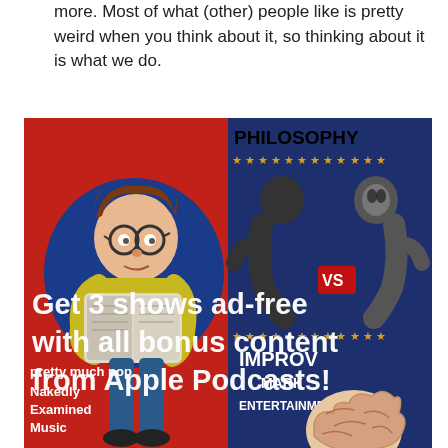more. Most of what (other) people like is pretty weird when you think about it, so thinking about it is what we do.
[Figure (illustration): Composite podcast promotional image showing four podcast show covers arranged in a 2x2 grid. Top-left: red background with cartoon boy reading (Pretty Much Pop / Nakedly Examined Music). Top-right: blue background with two fighters 'VS' (Philosophy). Bottom-left continuation of left shows more cartoon. Bottom-right: improv/entertainment show with brain illustration (Mark Entertainment/Improv). White overlay text reads 'Get 3 shows ad-free with all bonus content from Apple Podcasts!']